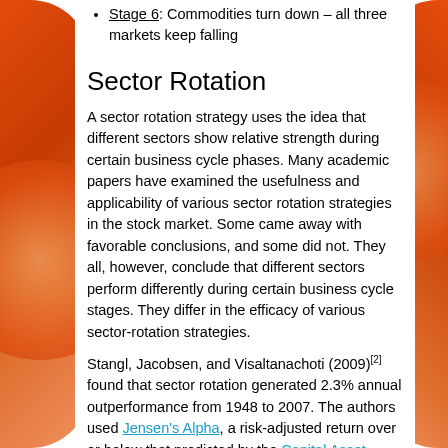Stage 6: Commodities turn down – all three markets keep falling
Sector Rotation
A sector rotation strategy uses the idea that different sectors show relative strength during certain business cycle phases. Many academic papers have examined the usefulness and applicability of various sector rotation strategies in the stock market. Some came away with favorable conclusions, and some did not. They all, however, conclude that different sectors perform differently during certain business cycle stages. They differ in the efficacy of various sector-rotation strategies.
Stangl, Jacobsen, and Visaltanachoti (2009)[2] found that sector rotation generated 2.3% annual outperformance from 1948 to 2007. The authors used Jensen's Alpha, a risk-adjusted return over or below that predicted by the Capital Asset Pricing Model (CAPM), to compute outperformance. They say that this performance quickly dissipates without